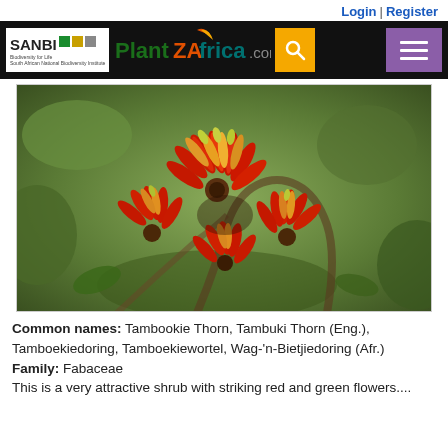Login | Register
[Figure (logo): SANBI PlantZAfrica.com website header with SANBI logo, PlantZAfrica.com logo, search button, and hamburger menu]
[Figure (photo): Close-up photograph of Tambookie Thorn (Erythrina acanthocarpa) showing striking red and yellow-green tubular flowers clustered together on a branch]
Common names: Tambookie Thorn, Tambuki Thorn (Eng.), Tamboekiedoring, Tamboekiewortel, Wag-'n-Bietjiedoring (Afr.)
Family: Fabaceae
This is a very attractive shrub with striking red and green flowers....